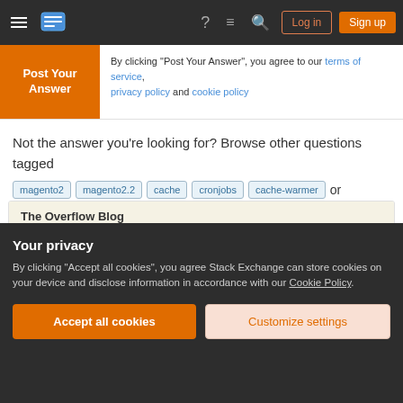Stack Overflow navigation bar with hamburger menu, logo, help, chat, search icons, Log in and Sign up buttons
By clicking "Post Your Answer", you agree to our terms of service, privacy policy and cookie policy
Not the answer you're looking for? Browse other questions tagged magento2 magento2.2 cache cronjobs cache-warmer or ask your own question.
The Overflow Blog
The luckiest guy in AI (Ep. 477)
Your privacy
By clicking "Accept all cookies", you agree Stack Exchange can store cookies on your device and disclose information in accordance with our Cookie Policy.
Accept all cookies  Customize settings